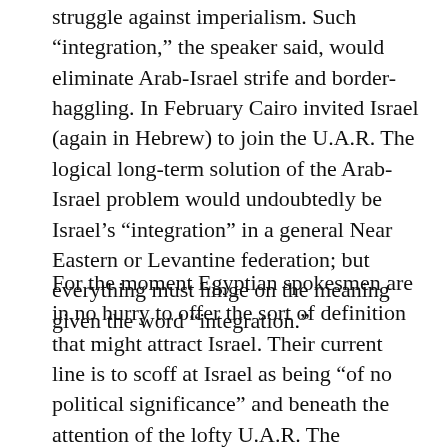struggle against imperialism. Such “integration,” the speaker said, would eliminate Arab-Israel strife and border-haggling. In February Cairo invited Israel (again in Hebrew) to join the U.A.R. The logical long-term solution of the Arab-Israel problem would undoubtedly be Israel’s “integration” in a general Near Eastern or Levantine federation; but everything must hinge on the meaning given the word “integration.”
For the moment Egyptian spokesmen are in no hurry to offer the sort of definition that might attract Israel. Their current line is to scoff at Israel as being “of no political significance” and beneath the attention of the lofty U.A.R. The Hashomites may impale themselves upon Israel